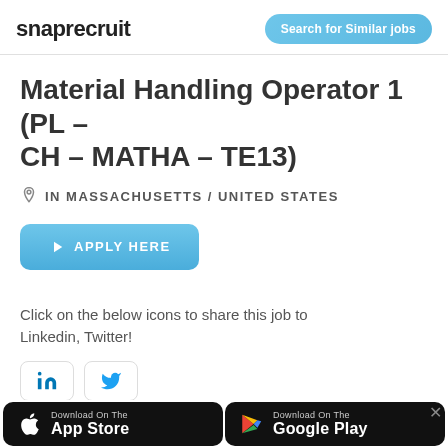snaprecruit | Search for Similar jobs
Material Handling Operator 1 (PL – CH – MATHA – TE13)
IN MASSACHUSETTS / UNITED STATES
APPLY HERE
Click on the below icons to share this job to Linkedin, Twitter!
[Figure (screenshot): LinkedIn and Twitter social sharing icon buttons]
[Figure (screenshot): Download on the App Store and Google Play buttons at bottom of page]